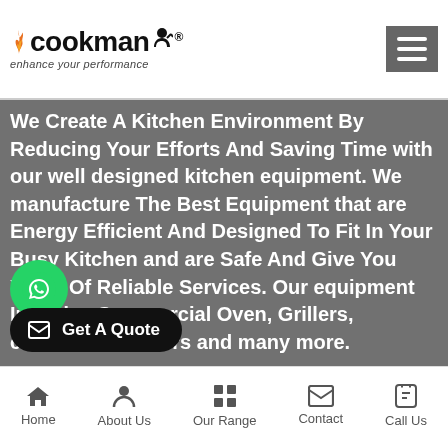[Figure (logo): Cookman logo with flame icon and tagline 'enhance your performance']
[Figure (other): Hamburger menu icon button (gray background, three white horizontal lines)]
We Create A Kitchen Environment By Reducing Your Efforts And Saving Time with our well designed kitchen equipment. We manufacture The Best Equipment that are Energy Efficient And Designed To Fit In Your Busy Kitchen and are Safe And Give You Years Of Reliable Services. Our equipment Includes Commercial Oven, Grillers, chocolate warmers and many more.
y To Match The Need Of The Industry And Come up with New Innovations every time. We thrive to G ality Equipment By Continuous corporation Of New Technology. So explore through Our Indigenous Innovations That
[Figure (other): WhatsApp floating button (green circle with WhatsApp icon)]
[Figure (other): Get A Quote button (black rounded rectangle with mail icon and text)]
Home | About Us | Our Range | Contact | Call Us